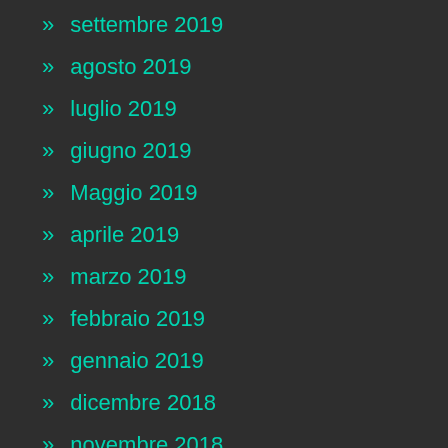» settembre 2019
» agosto 2019
» luglio 2019
» giugno 2019
» Maggio 2019
» aprile 2019
» marzo 2019
» febbraio 2019
» gennaio 2019
» dicembre 2018
» novembre 2018
» ottobre 2018
» settembre 2018
» agosto 2018
» luglio 2018